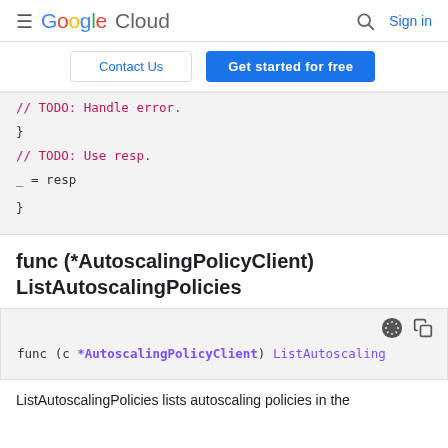≡ Google Cloud  🔍 Sign in
Contact Us  Get started for free
[Figure (screenshot): Code block showing Go code: // TODO: Handle error. } // TODO: Use resp. _ = resp }]
func (*AutoscalingPolicyClient) ListAutoscalingPolicies
[Figure (screenshot): Code block: func (c *AutoscalingPolicyClient) ListAutoscaling]
ListAutoscalingPolicies lists autoscaling policies in the